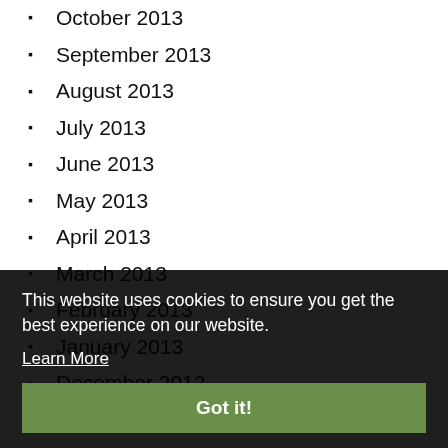October 2013
September 2013
August 2013
July 2013
June 2013
May 2013
April 2013
March 2013
February 2013
January 2013
December 2012
November 2012
October 2012
September 2012
August 2012
July 2012
June 2012
May 2012
This website uses cookies to ensure you get the best experience on our website. Learn More
Got it!